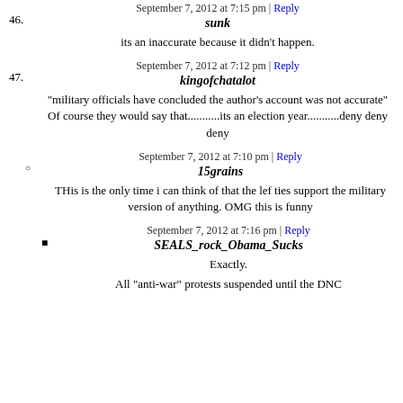46. sunk — September 7, 2012 at 7:15 pm | Reply
its an inaccurate because it didn't happen.
47. kingofchatalot — September 7, 2012 at 7:12 pm | Reply
"military officials have concluded the author's account was not accurate" Of course they would say that...........its an election year...........deny deny deny
○ 15grains — September 7, 2012 at 7:10 pm | Reply
THis is the only time i can think of that the lef ties support the military version of anything. OMG this is funny
■ SEALS_rock_Obama_Sucks — September 7, 2012 at 7:16 pm | Reply
Exactly.
All "anti-war" protests suspended until the DNC